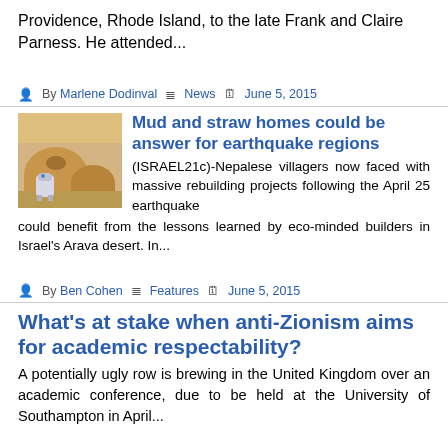Providence, Rhode Island, to the late Frank and Claire Parness. He attended...
By Marlene Dodinval  News  June 5, 2015
[Figure (photo): Photo of dome-shaped mud and straw building with R2-D2 figure in foreground]
Mud and straw homes could be answer for earthquake regions
(ISRAEL21c)-Nepalese villagers now faced with massive rebuilding projects following the April 25 earthquake could benefit from the lessons learned by eco-minded builders in Israel's Arava desert. In...
By Ben Cohen  Features  June 5, 2015
What's at stake when anti-Zionism aims for academic respectability?
A potentially ugly row is brewing in the United Kingdom over an academic conference, due to be held at the University of Southampton in April...